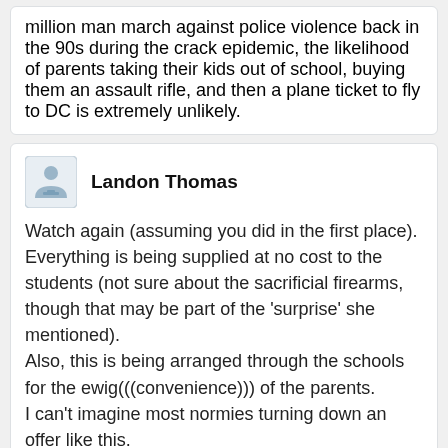million man march against police violence back in the 90s during the crack epidemic, the likelihood of parents taking their kids out of school, buying them an assault rifle, and then a plane ticket to fly to DC is extremely unlikely.
Landon Thomas
Watch again (assuming you did in the first place). Everything is being supplied at no cost to the students (not sure about the sacrificial firearms, though that may be part of the 'surprise' she mentioned).
Also, this is being arranged through the schools for the ewig(((convenience))) of the parents.
I can't imagine most normies turning down an offer like this.
Kevin Sanchez
They're probably smashing cheap ones so don't expect any of them to have a half decent trigger or anything